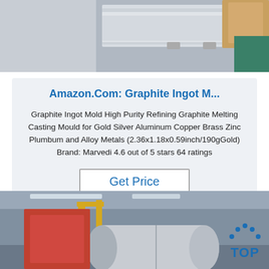[Figure (photo): Top portion of a product photo showing metallic sheets or panels with clips, partially visible]
Amazon.Com: Graphite Ingot M...
Graphite Ingot Mold High Purity Refining Graphite Melting Casting Mould for Gold Silver Aluminum Copper Brass Zinc Plumbum and Alloy Metals (2.36x1.18x0.59inch/190gGold) Brand: Marvedi 4.6 out of 5 stars 64 ratings
Get Price
[Figure (photo): Industrial warehouse photo showing large cylindrical metal rolls or tanks on a factory floor with yellow crane structures and overhead lighting, with a 'TOP' navigation button overlay]